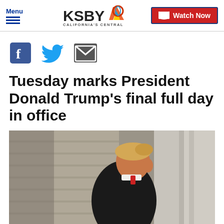Menu | KSBY California's Central Coast | Watch Now
[Figure (other): Social sharing icons: Facebook, Twitter, Email]
Tuesday marks President Donald Trump's final full day in office
[Figure (photo): Photo of President Donald Trump in profile, wearing a black coat and red tie, with marble steps in the background]